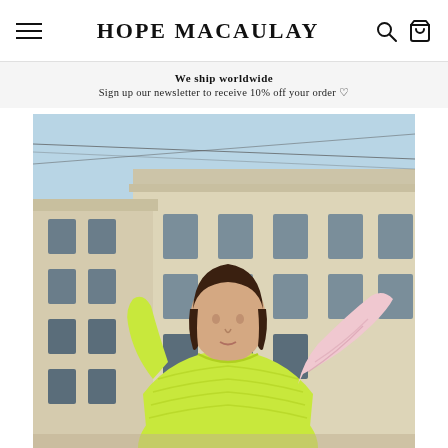HOPE MACAULAY
We ship worldwide
Sign up our newsletter to receive 10% off your order ♡
[Figure (photo): Fashion photo of a woman wearing a bright yellow-green knit sweater with a pink sleeve, standing in front of a classical European building with ornate architecture and a blue sky. Overhead tram or electric wires are visible.]